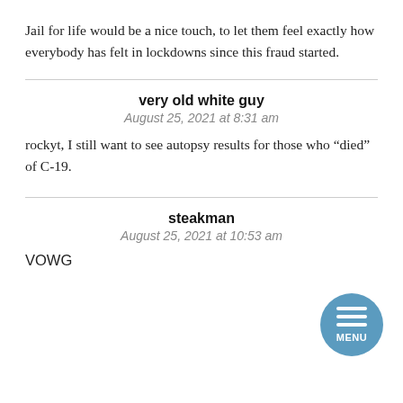Jail for life would be a nice touch, to let them feel exactly how everybody has felt in lockdowns since this fraud started.
very old white guy
August 25, 2021 at 8:31 am
rockyt, I still want to see autopsy results for those who “died” of C-19.
steakman
August 25, 2021 at 10:53 am
VOWG